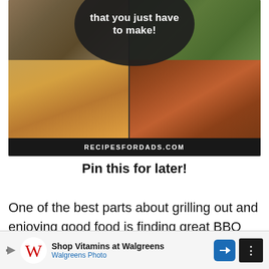[Figure (photo): Food collage image showing BBQ side dishes: grilled items top-left, grilled greens top-right, tomatoes and queso dip bottom-left, baked beans bottom-right. Overlaid dark circle with white text 'that you just have to make!' and bottom watermark bar reading 'RECIPESFORDADS.COM'.]
Pin this for later!
One of the best parts about grilling out and enjoying good food is finding great BBQ side dishes to go along with the main
[Figure (other): Advertisement banner: Shop Vitamins at Walgreens / Walgreens Photo, with Walgreens cursive W logo, navigation arrow icon, and dark icon on right.]